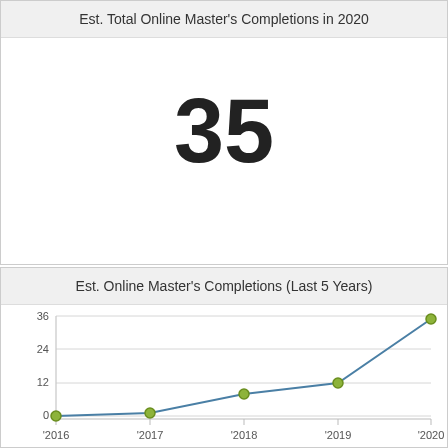Est. Total Online Master's Completions in 2020
35
Est. Online Master's Completions (Last 5 Years)
[Figure (line-chart): Est. Online Master's Completions (Last 5 Years)]